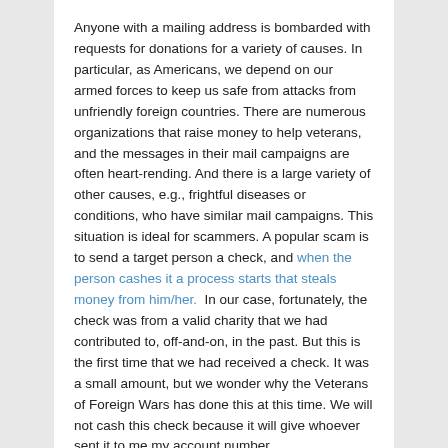Anyone with a mailing address is bombarded with requests for donations for a variety of causes. In particular, as Americans, we depend on our armed forces to keep us safe from attacks from unfriendly foreign countries. There are numerous organizations that raise money to help veterans, and the messages in their mail campaigns are often heart-rending. And there is a large variety of other causes, e.g., frightful diseases or conditions, who have similar mail campaigns. This situation is ideal for scammers. A popular scam is to send a target person a check, and when the person cashes it a process starts that steals money from him/her.  In our case, fortunately, the check was from a valid charity that we had contributed to, off-and-on, in the past. But this is the first time that we had received a check. It was a small amount, but we wonder why the Veterans of Foreign Wars has done this at this time. We will not cash this check because it will give whoever sent it to me my account number.
Posted in Contributions, Emergencies, Football, Military...